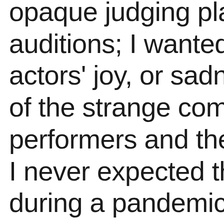opaque judging play auditions; I wanted actors' joy, or sadne of the strange comm performers and thei I never expected tha during a pandemic, come to the theater